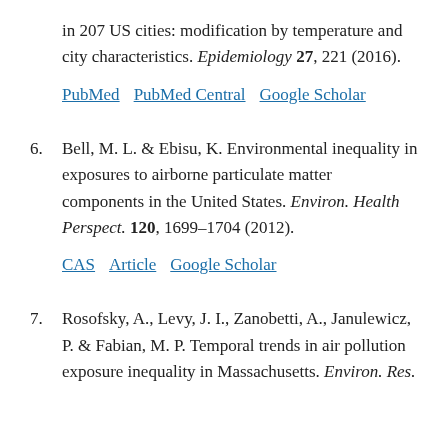in 207 US cities: modification by temperature and city characteristics. Epidemiology 27, 221 (2016).
PubMed  PubMed Central  Google Scholar
6. Bell, M. L. & Ebisu, K. Environmental inequality in exposures to airborne particulate matter components in the United States. Environ. Health Perspect. 120, 1699–1704 (2012).
CAS  Article  Google Scholar
7. Rosofsky, A., Levy, J. I., Zanobetti, A., Janulewicz, P. & Fabian, M. P. Temporal trends in air pollution exposure inequality in Massachusetts. Environ. Res.